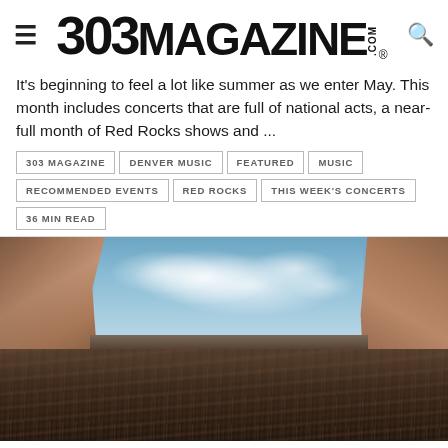[Figure (logo): 303 Magazine logo with hamburger menu icon on left and search icon on right]
It's beginning to feel a lot like summer as we enter May. This month includes concerts that are full of national acts, a near-full month of Red Rocks shows and ...
303 MAGAZINE
DENVER MUSIC
FEATURED
MUSIC
RECOMMENDED EVENTS
RED ROCKS
THIS WEEK'S CONCERTS
36 MIN READ
[Figure (photo): Wide panoramic photo of a massive crowd at Red Rocks Amphitheatre with the iconic red sandstone rock formations on either side and a partly cloudy sky above]